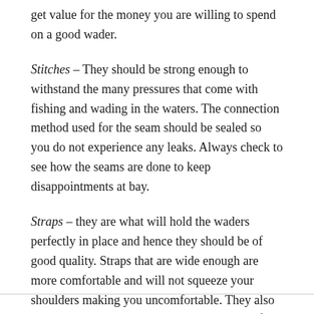get value for the money you are willing to spend on a good wader.
Stitches – They should be strong enough to withstand the many pressures that come with fishing and wading in the waters. The connection method used for the seam should be sealed so you do not experience any leaks. Always check to see how the seams are done to keep disappointments at bay.
Straps – they are what will hold the waders perfectly in place and hence they should be of good quality. Straps that are wide enough are more comfortable and will not squeeze your shoulders making you uncomfortable. They also should be adjustable so you can get the right fit for your height or body size.